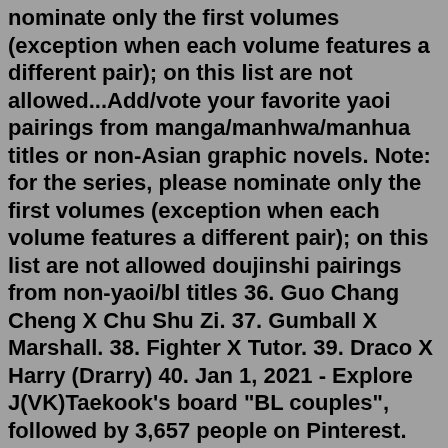nominate only the first volumes (exception when each volume features a different pair); on this list are not allowed...Add/vote your favorite yaoi pairings from manga/manhwa/manhua titles or non-Asian graphic novels. Note: for the series, please nominate only the first volumes (exception when each volume features a different pair); on this list are not allowed doujinshi pairings from non-yaoi/bl titles 36. Guo Chang Cheng X Chu Shu Zi. 37. Gumball X Marshall. 38. Fighter X Tutor. 39. Draco X Harry (Drarry) 40. Jan 1, 2021 - Explore J(VK)Taekook's board "BL couples", followed by 3,657 people on Pinterest. See more ideas about couples, bright pictures, cute gay couples.***Work in progress--list far from complete. Mini reviews to follow for all titles and more titles to be added.*** Be sure to check out my other lists Most are pure BL/Gay themed (they really should be separated, you know...) but some are dramas that feature Gay/Male Bi couples/characters that get a...part-1 https://youtu.be/S7QubpxUFho Add/vote your favorite yaoi pairings from